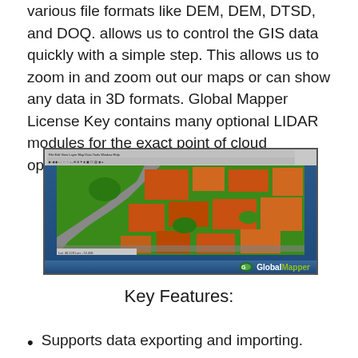various file formats like DEM, DEM, DTSD, and DOQ. allows us to control the GIS data quickly with a simple step. This allows us to zoom in and zoom out our maps or can show any data in 3D formats. Global Mapper License Key contains many optional LIDAR modules for the exact point of cloud operations.
[Figure (screenshot): Screenshot of Global Mapper software showing a GIS aerial/satellite map view with orange and green color-coded land use areas. The interface has a toolbar at top and the Global Mapper logo at the bottom right.]
Key Features:
Supports data exporting and importing.